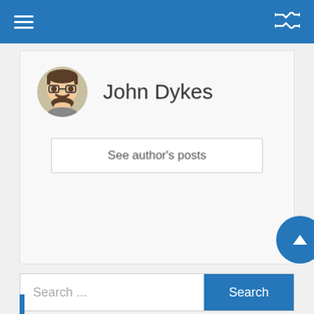Navigation bar with hamburger menu and shuffle icon
[Figure (illustration): Circular avatar of John Dykes — illustrated male character with glasses and beard]
John Dykes
See author's posts
Posted in Artificial Intelligence   Tagged ait, aritificialintelligence, business, data
Search ...
Search